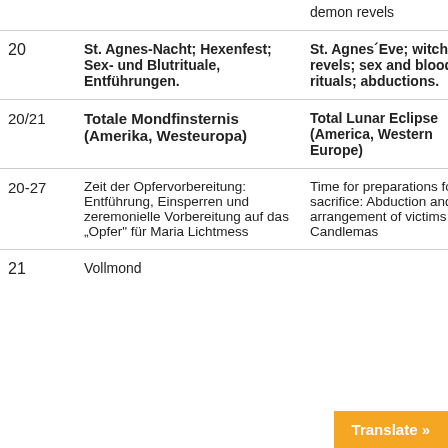| Day | German | English |
| --- | --- | --- |
|  |  | demon revels |
| 20 | St. Agnes-Nacht; Hexenfest; Sex- und Blutrituale, Entführungen. | St. Agnes' Eve; witch revels; sex and blood rituals; abductions. |
| 20/21 | Totale Mondfinsternis (Amerika, Westeuropa) | Total Lunar Eclipse (America, Western Europe) |
| 20-27 | Zeit der Opfervorbereitung: Entführung, Einsperren und zeremonielle Vorbereitung auf das "Opfer" für Maria Lichtmess | Time for preparations for sacrifice: Abduction and pre-arrangement of victims for Candlemas |
| 21 | Vollmond |  |